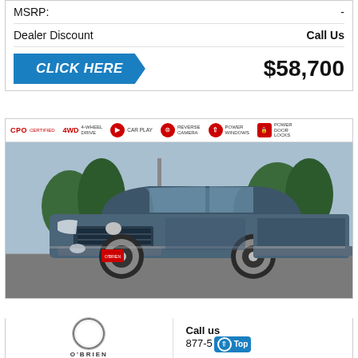MSRP: -
Dealer Discount   Call Us
CLICK HERE   $58,700
[Figure (photo): Toyota Tundra truck photographed in a parking lot, dark blue/grey color, front 3/4 view. Feature bar at top shows: CPO CERTIFIED, 4WD 4-WHEEL DRIVE, CAR PLAY, REVERSE CAMERA, POWER WINDOWS, POWER DOOR LOCKS.]
Call us  877-5...
O'BRIEN
Top